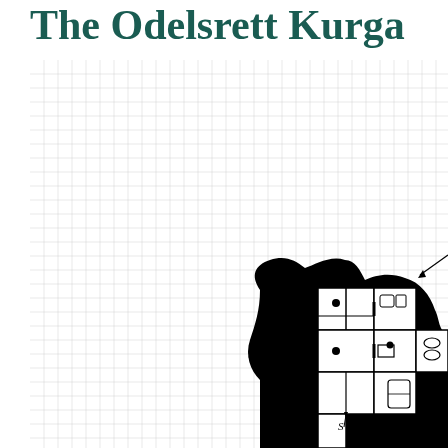The Odelsrett Kurga
[Figure (map): Partial dungeon/barrow map on graph paper background. Lower right portion shows a detailed dungeon floor plan with thick black walls, stone-textured rooms, corridors, and annotated rooms. Labels include '9' (with an arrow pointing to a cave/natural area entrance) and 'S' (with an arrow pointing to a location in a lower corridor). The upper-left region shows only faint grid lines with no dungeon features. An arrow points inward from the right edge near the top of the map area.]